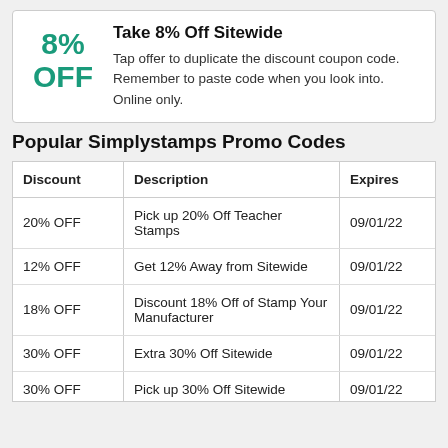8% OFF
Take 8% Off Sitewide
Tap offer to duplicate the discount coupon code. Remember to paste code when you look into. Online only.
Popular Simplystamps Promo Codes
| Discount | Description | Expires |
| --- | --- | --- |
| 20% OFF | Pick up 20% Off Teacher Stamps | 09/01/22 |
| 12% OFF | Get 12% Away from Sitewide | 09/01/22 |
| 18% OFF | Discount 18% Off of Stamp Your Manufacturer | 09/01/22 |
| 30% OFF | Extra 30% Off Sitewide | 09/01/22 |
| 30% OFF | Pick up 30% Off Sitewide | 09/01/22 |